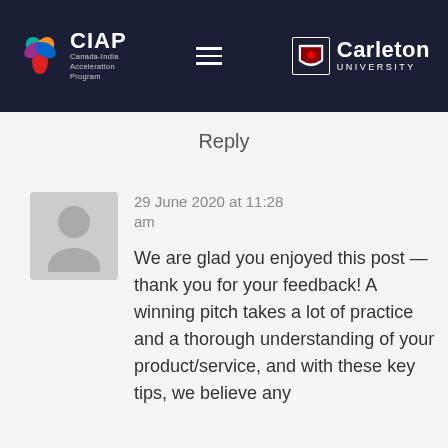CIAP Canada-India Acceleration Program | Carleton University
Reply
29 June 2020 at 11:28 am
We are glad you enjoyed this post — thank you for your feedback! A winning pitch takes a lot of practice and a thorough understanding of your product/service, and with these key tips, we believe any